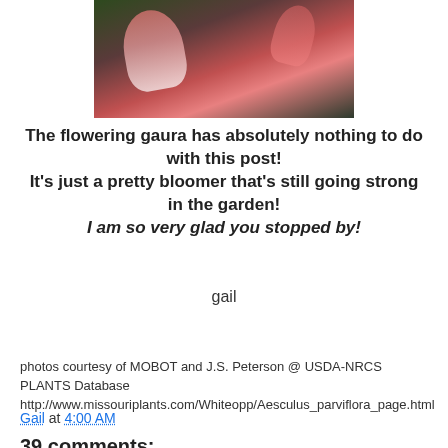[Figure (photo): Close-up photo of flowering gaura plant with pink and white blossoms against green foliage background]
The flowering gaura has absolutely nothing to do with this post!
It's just a pretty bloomer that's still going strong in the garden!
I am so very glad you stopped by!
gail
photos courtesy of MOBOT and J.S. Peterson @ USDA-NRCS PLANTS Database
http://www.missouriplants.com/Whiteopp/Aesculus_parviflora_page.html
Gail at 4:00 AM
39 comments: